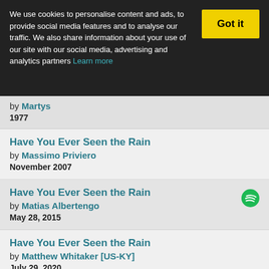We use cookies to personalise content and ads, to provide social media features and to analyse our traffic. We also share information about your use of our site with our social media, advertising and analytics partners Learn more
by Martys
1977
Have You Ever Seen the Rain
by Massimo Priviero
November 2007
Have You Ever Seen the Rain
by Matias Albertengo
May 28, 2015
Have You Ever Seen the Rain
by Matthew Whitaker [US-KY]
July 29, 2020
Live
Have You Ever Seen the Rain?